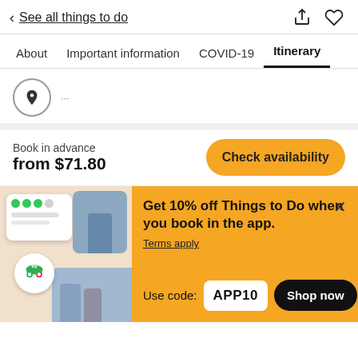< See all things to do
About   Important information   COVID-19   Itinerary
Book in advance
from $71.80
Check availability
Get 10% off Things to Do when you book in the app.
Terms apply
Use code: APP10
Shop now